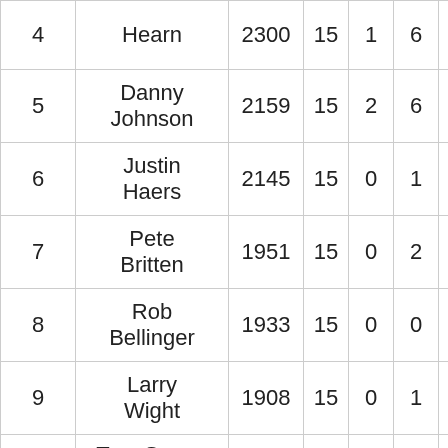| Rank | Name | Pts |  |  |  |  |
| --- | --- | --- | --- | --- | --- | --- |
| 4 | Hearn | 2300 | 15 | 1 | 6 | 12 |
| 5 | Danny Johnson | 2159 | 15 | 2 | 6 | 9 |
| 6 | Justin Haers | 2145 | 15 | 0 | 1 | 5 |
| 7 | Pete Britten | 1951 | 15 | 0 | 2 | 3 |
| 8 | Rob Bellinger | 1933 | 15 | 0 | 0 | 5 |
| 9 | Larry Wight | 1908 | 15 | 0 | 1 | 3 |
| 10 | Tom Sears, Jr. | 1823 | 15 | 0 | 0 | 1 |